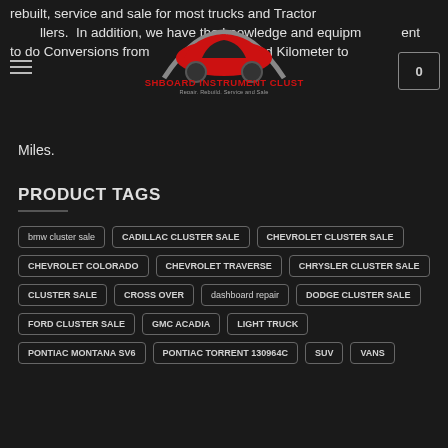rebuilt, service and sale for most trucks and Tractors. In addition, we have the knowledge and equipment to do Conversions from Kilometer and Kilometer to Miles.
[Figure (logo): Dashboard Instrument Cluster logo — red car silhouette with grey arc, red text 'DASHBOARD INSTRUMENT CLUSTER', grey subtitle 'Repair, Rebuild, Service and Sale']
Miles.
PRODUCT TAGS
bmw cluster sale
CADILLAC CLUSTER SALE
CHEVROLET CLUSTER SALE
CHEVROLET COLORADO
CHEVROLET TRAVERSE
CHRYSLER CLUSTER SALE
CLUSTER SALE
CROSS OVER
dashboard repair
DODGE CLUSTER SALE
FORD CLUSTER SALE
GMC ACADIA
LIGHT TRUCK
PONTIAC MONTANA SV6
PONTIAC TORRENT 130964C
SUV
VANS